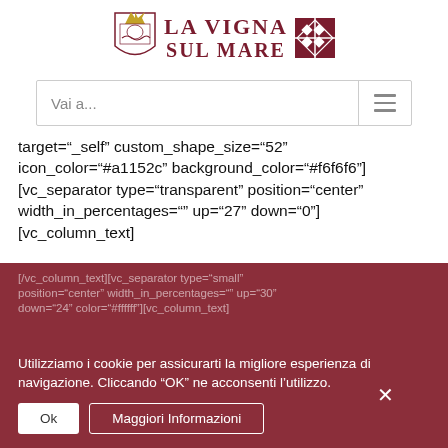[Figure (logo): La Vigna Sul Mare logo with crest/shield on left and diamond pattern on right, text in dark red serif capitals]
Vai a...
target="_self" custom_shape_size="52" icon_color="#a1152c" background_color="#f6f6f6"][vc_separator type="transparent" position="center" width_in_percentages="" up="27" down="0"][vc_column_text]
[/vc_column_text][vc_separator type="small" position="center" width_in_percentages="" up="30" down="24" color="#ffffff"][vc_column_text]
Utilizziamo i cookie per assicurarti la migliore esperienza di navigazione. Cliccando "OK" ne acconsenti l'utilizzo.